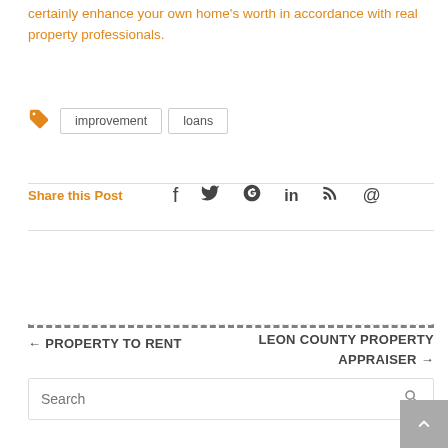certainly enhance your own home's worth in accordance with real property professionals.
improvement   loans
Share this Post
← PROPERTY TO RENT
LEON COUNTY PROPERTY APPRAISER →
Search